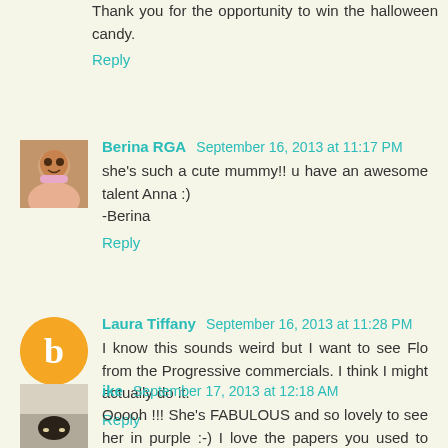Thank you for the opportunity to win the halloween candy.
Reply
Berina RGA  September 16, 2013 at 11:17 PM
she's such a cute mummy!! u have an awesome talent Anna :)
-Berina
Reply
Laura Tiffany  September 16, 2013 at 11:28 PM
I know this sounds weird but I want to see Flo from the Progressive commercials. I think I might actually do it.
Reply
ike  September 17, 2013 at 12:18 AM
Ooooh !!! She's FABULOUS and so lovely to see her in purple :-) I love the papers you used to and would LUV a